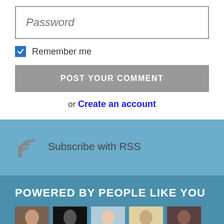[Figure (screenshot): Password input field with placeholder text 'Password' in gray italic font, bordered with gray outline]
Remember me (checkbox checked in blue)
[Figure (screenshot): Gray button labeled 'POST YOUR COMMENT' in white uppercase letters]
or Create an account
[Figure (screenshot): RSS icon with text 'Subscribe with RSS' on a teal/blue background section]
POWERED BY PEOPLE LIKE YOU
[Figure (photo): Row of five avatar/profile photos partially visible at the bottom of the page]